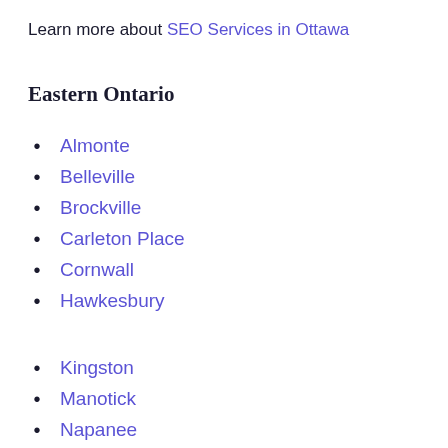Learn more about SEO Services in Ottawa
Eastern Ontario
Almonte
Belleville
Brockville
Carleton Place
Cornwall
Hawkesbury
Kingston
Manotick
Napanee
Pembroke